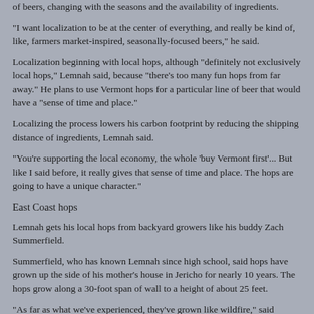of beers, changing with the seasons and the availability of ingredients.
"I want localization to be at the center of everything, and really be kind of, like, farmers market-inspired, seasonally-focused beers," he said.
Localization beginning with local hops, although "definitely not exclusively local hops," Lemnah said, because "there's too many fun hops from far away." He plans to use Vermont hops for a particular line of beer that would have a "sense of time and place."
Localizing the process lowers his carbon footprint by reducing the shipping distance of ingredients, Lemnah said.
"You're supporting the local economy, the whole 'buy Vermont first'... But like I said before, it really gives that sense of time and place. The hops are going to have a unique character."
East Coast hops
Lemnah gets his local hops from backyard growers like his buddy Zach Summerfield.
Summerfield, who has known Lemnah since high school, said hops have grown up the side of his mother's house in Jericho for nearly 10 years. The hops grow along a 30-foot span of wall to a height of about 25 feet.
"As far as what we've experienced, they've grown like wildfire," said Summerfield, 29, of Colchester. "They're fairly intrusive. They grow onto